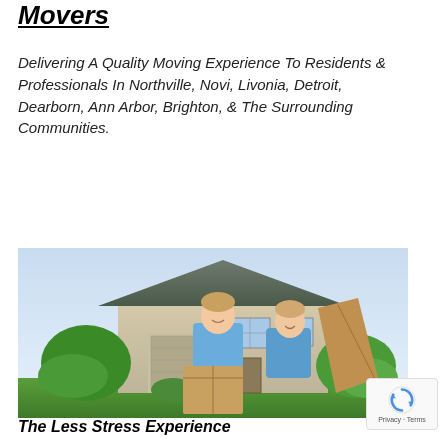Movers
Delivering A Quality Moving Experience To Residents & Professionals In Northville, Novi, Livonia, Detroit, Dearborn, Ann Arbor, Brighton, & The Surrounding Communities.
[Figure (photo): Two men in blue polo shirts holding moving boxes standing in front of a residential house with green landscaping.]
The Less Stress Experience